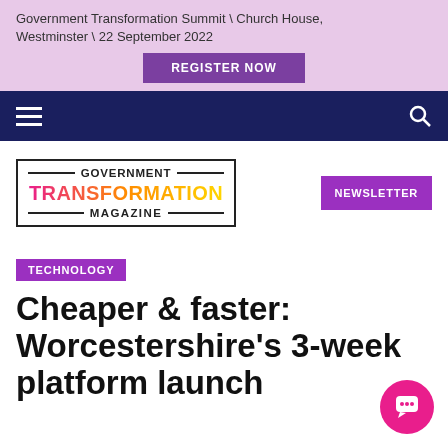Government Transformation Summit \ Church House, Westminster \ 22 September 2022
REGISTER NOW
[Figure (logo): Government Transformation Magazine logo with colorful gradient 'TRANSFORMATION' text]
NEWSLETTER
TECHNOLOGY
Cheaper & faster: Worcestershire's 3-week platform launch